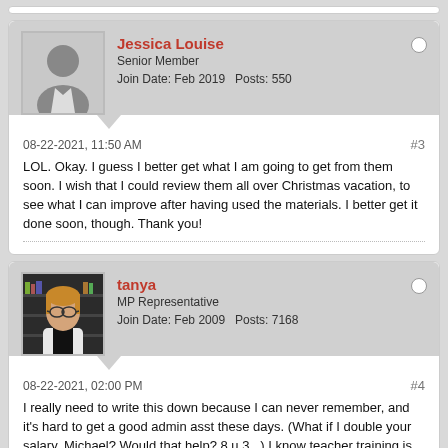[Figure (screenshot): Forum post by Jessica Louise, Senior Member, Join Date Feb 2019, Posts 550. Post #3 dated 08-22-2021 11:50 AM. Text: LOL. Okay. I guess I better get what I am going to get from them soon. I wish that I could review them all over Christmas vacation, to see what I can improve after having used the materials. I better get it done soon, though. Thank you!]
[Figure (screenshot): Forum post by tanya, MP Representative, Join Date Feb 2009, Posts 7168. Post #4 dated 08-22-2021 02:00 PM. Text begins: I really need to write this down because I can never remember, and it's hard to get a good admin asst these days. (What if I double your salary, Michael? Would that help? 8 u 3...]